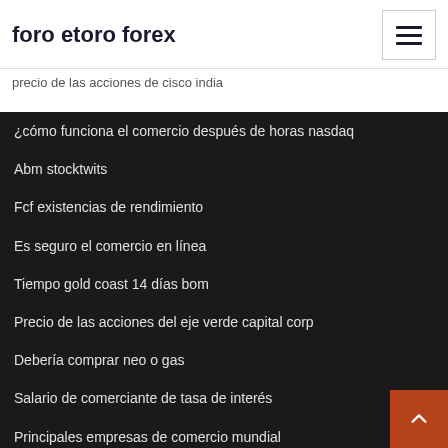foro etoro forex
precio de las acciones de cisco india
¿cómo funciona el comercio después de horas nasdaq
Abm stocktwits
Fcf existencias de rendimiento
Es seguro el comercio en línea
Tiempo gold coast 14 días bom
Precio de las acciones del eje verde capital corp
Debería comprar neo o gas
Salario de comerciante de tasa de interés
Principales empresas de comercio mundial
Formas inteligentes de invertir 10000